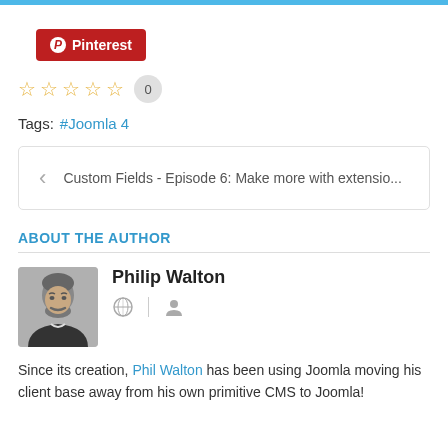[Figure (logo): Pinterest share button with red background]
★★★★★ 0
Tags:  #Joomla 4
< Custom Fields - Episode 6: Make more with extensio...
ABOUT THE AUTHOR
[Figure (photo): Photo of Philip Walton, a man with beard in dark jacket]
Philip Walton
Since its creation, Phil Walton has been using Joomla moving his client base away from his own primitive CMS to Joomla!